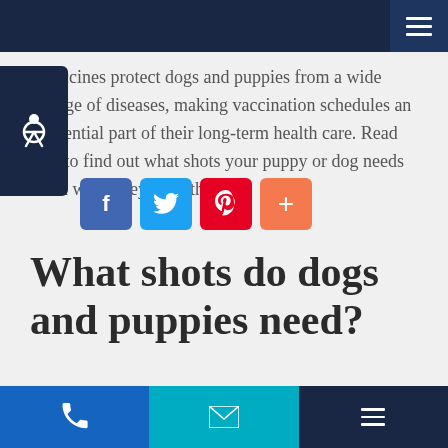Vaccines protect dogs and puppies from a wide range of diseases, making vaccination schedules an essential part of their long-term health care. Read on to find out what shots your puppy or dog needs and when they need them.
What shots do dogs and puppies need?
Puppy Shot Schedule Chart